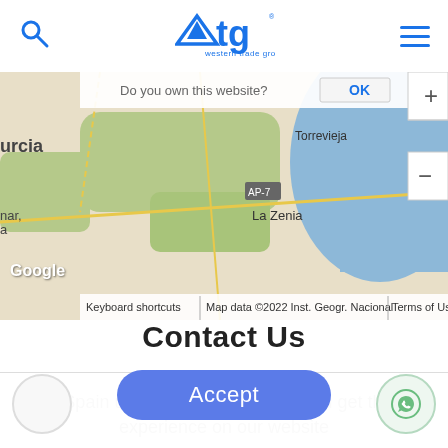WTG Western Trade Group logo with search and menu icons
[Figure (screenshot): Google Maps partial view showing Murcia region, Torrevieja, La Zenia, AP-7, with zoom controls and map attribution bar]
Contact Us
WTG Spain uses cookies to ensure you get the best experience on our website
More info
Accept